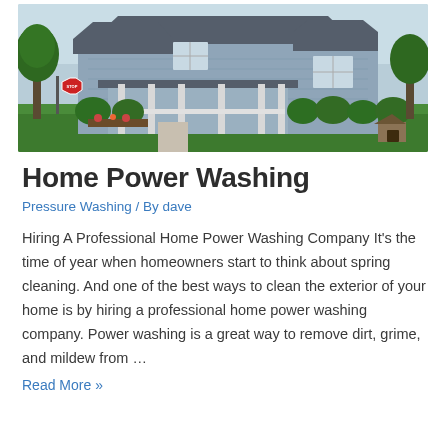[Figure (photo): Exterior photo of a two-story light blue/grey house with a wraparound porch, white railings, grey roof, green lawn, trimmed shrubs, a red stop sign visible on the left side, and a small doghouse on the right side of the front yard.]
Home Power Washing
Pressure Washing / By dave
Hiring A Professional Home Power Washing Company It's the time of year when homeowners start to think about spring cleaning. And one of the best ways to clean the exterior of your home is by hiring a professional home power washing company. Power washing is a great way to remove dirt, grime, and mildew from …
Read More »